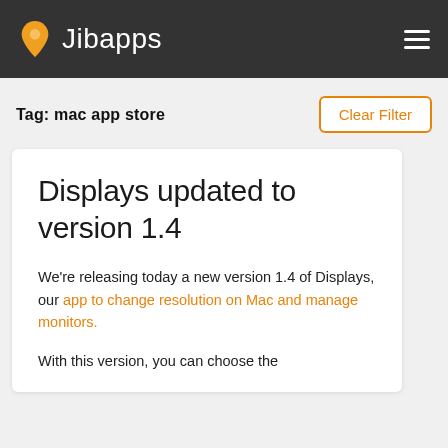Jibapps
Tag: mac app store
Displays updated to version 1.4
We're releasing today a new version 1.4 of Displays, our app to change resolution on Mac and manage monitors.
With this version, you can choose the